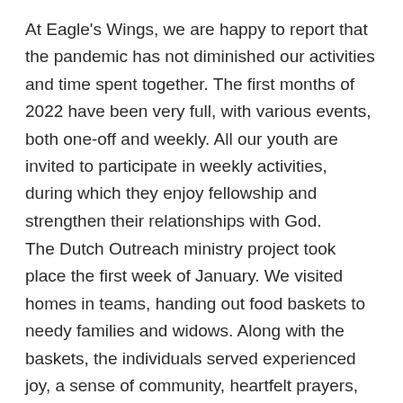At Eagle's Wings, we are happy to report that the pandemic has not diminished our activities and time spent together. The first months of 2022 have been very full, with various events, both one-off and weekly. All our youth are invited to participate in weekly activities, during which they enjoy fellowship and strengthen their relationships with God.
The Dutch Outreach ministry project took place the first week of January. We visited homes in teams, handing out food baskets to needy families and widows. Along with the baskets, the individuals served experienced joy, a sense of community, heartfelt prayers, and the hope of the gospel. It was a very special week and involved many young people who wanted to help, visit, and talk about God. The families they visited had something to give in return, through their stories, hospitality, smiles